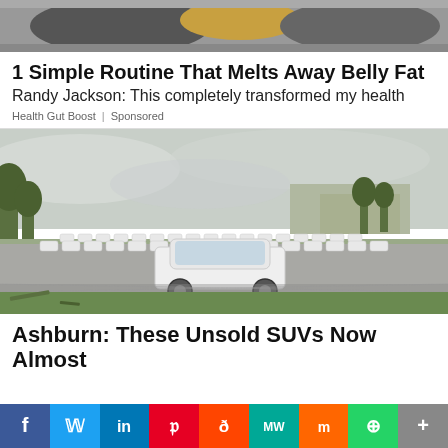[Figure (photo): Partial image of people at top of ad block]
1 Simple Routine That Melts Away Belly Fat
Randy Jackson: This completely transformed my health
Health Gut Boost | Sponsored
[Figure (photo): Large parking lot filled with rows of white SUVs, overcast sky, trees and building in background, chain-link fence in foreground]
Ashburn: These Unsold SUVs Now Almost
[Figure (other): Social media share bar with icons: Facebook, Twitter, LinkedIn, Pinterest, Reddit, MW, Mix, WhatsApp, More]